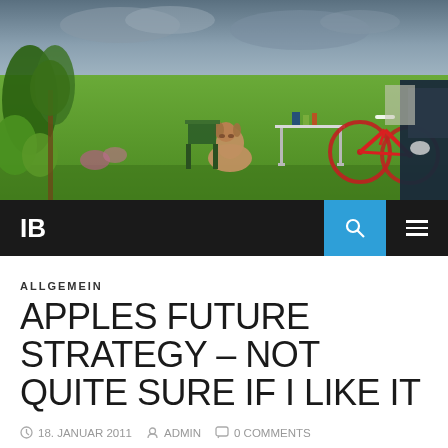[Figure (photo): Outdoor camping scene with a dog sitting on grass, a folding table with items, a red bicycle, a vehicle on the right, trees and plants in the background, overcast sky]
IB
ALLGEMEIN
APPLES FUTURE STRATEGY – NOT QUITE SURE IF I LIKE IT
18. JANUAR 2011  ADMIN  0 COMMENTS